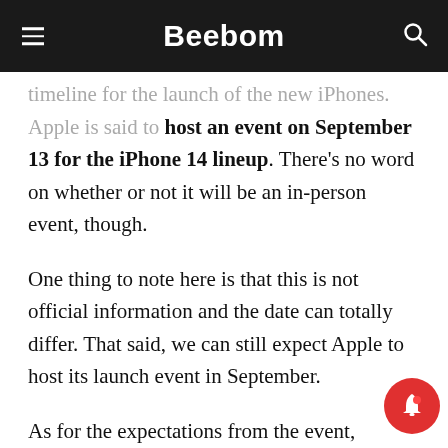Beebom
timeline for the launch of the new iPhones. Apple is said to host an event on September 13 for the iPhone 14 lineup. There's no word on whether or not it will be an in-person event, though.
One thing to note here is that this is not official information and the date can totally differ. That said, we can still expect Apple to host its launch event in September.
As for the expectations from the event, multiple products are slated to launch. The primary attraction will be the iPhone 14 iteration with four models: iPhone 14, the iPhone 14 Max (a first-timer), the